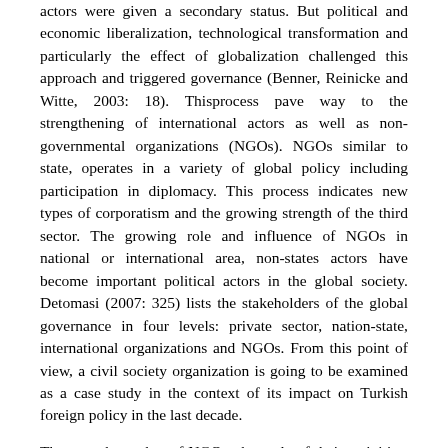actors were given a secondary status. But political and economic liberalization, technological transformation and particularly the effect of globalization challenged this approach and triggered governance (Benner, Reinicke and Witte, 2003: 18). Thisprocess pave way to the strengthening of international actors as well as non-governmental organizations (NGOs). NGOs similar to state, operates in a variety of global policy including participation in diplomacy. This process indicates new types of corporatism and the growing strength of the third sector. The growing role and influence of NGOs in national or international area, non-states actors have become important political actors in the global society. Detomasi (2007: 325) lists the stakeholders of the global governance in four levels: private sector, nation-state, international organizations and NGOs. From this point of view, a civil society organization is going to be examined as a case study in the context of its impact on Turkish foreign policy in the last decade.
The growth number of NGOs, the scale of their activities, and the complexity of their transactions has had a major political impact. So international politics and diplomacy are not limited to Turkish government. IHH Humanitarian Relief Foundation as an Islamic-based institution can be considered as an